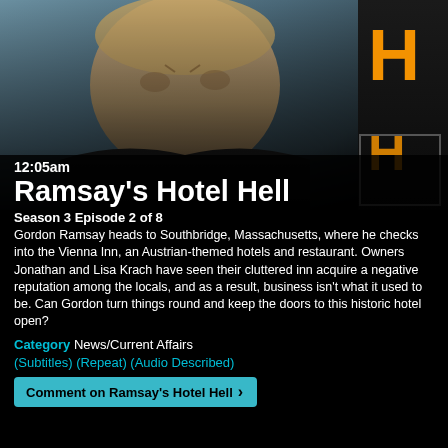[Figure (photo): Gordon Ramsay close-up portrait photo with Hotel Hell show branding/sign on the right side]
12:05am
Ramsay's Hotel Hell
Season 3 Episode 2 of 8
Gordon Ramsay heads to Southbridge, Massachusetts, where he checks into the Vienna Inn, an Austrian-themed hotels and restaurant. Owners Jonathan and Lisa Krach have seen their cluttered inn acquire a negative reputation among the locals, and as a result, business isn't what it used to be. Can Gordon turn things round and keep the doors to this historic hotel open?
Category News/Current Affairs
(Subtitles) (Repeat) (Audio Described)
Comment on Ramsay's Hotel Hell >